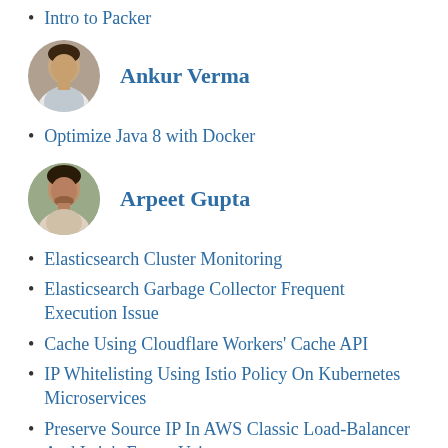Intro to Packer
[Figure (photo): Circular profile photo of Ankur Verma]
Ankur Verma
Optimize Java 8 with Docker
[Figure (photo): Circular profile photo of Arpeet Gupta]
Arpeet Gupta
Elasticsearch Cluster Monitoring
Elasticsearch Garbage Collector Frequent Execution Issue
Cache Using Cloudflare Workers' Cache API
IP Whitelisting Using Istio Policy On Kubernetes Microservices
Preserve Source IP In AWS Classic Load-Balancer And Istio's Envoy Using